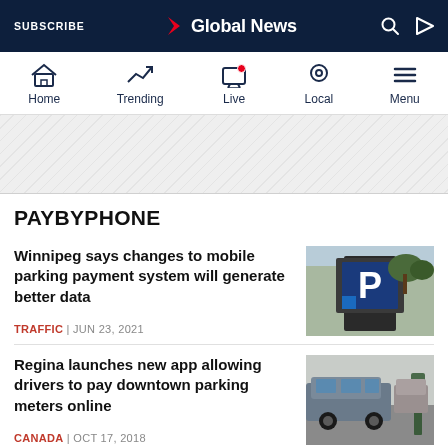SUBSCRIBE | Global News
[Figure (screenshot): Global News website navigation bar with Home, Trending, Live, Local, Menu icons]
[Figure (illustration): Ad banner area with diagonal stripe pattern]
PAYBYPHONE
Winnipeg says changes to mobile parking payment system will generate better data
TRAFFIC | JUN 23, 2021
[Figure (photo): Parking payment kiosk with large P letter logo on blue background]
Regina launches new app allowing drivers to pay downtown parking meters online
CANADA | OCT 17, 2018